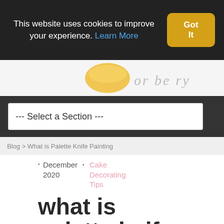This website uses cookies to improve your experience. Learn More
Got It
[Figure (photo): Partial website header image with yellow cake element and cursive script text]
--- Select a Section ---
Blog > What is Palette Knife Painting
December 2020
Cake Decorating Tips
what is palette knife painting